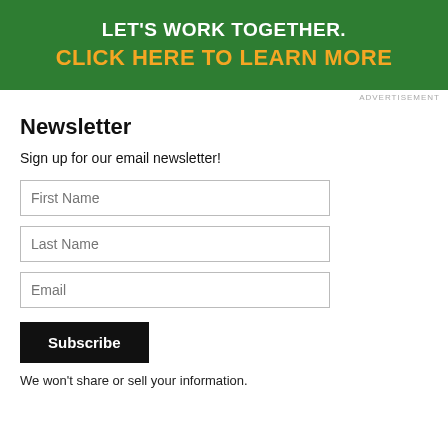[Figure (infographic): Green banner advertisement with text 'LET'S WORK TOGETHER.' in white bold and 'CLICK HERE TO LEARN MORE' in yellow/orange bold on a dark green background.]
ADVERTISEMENT
Newsletter
Sign up for our email newsletter!
First Name
Last Name
Email
Subscribe
We won't share or sell your information.